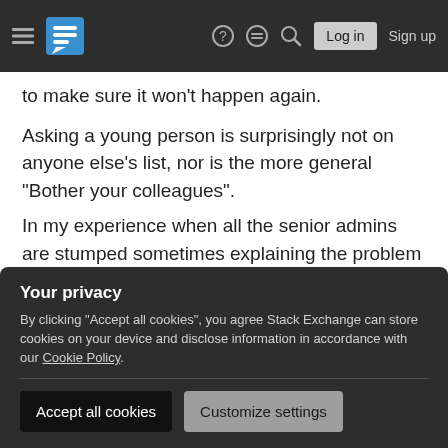Stack Exchange navigation bar with hamburger menu, logo, help, chat, search icons, Log in and Sign up buttons
to make sure it won't happen again.
Asking a young person is surprisingly not on anyone else's list, nor is the more general "Bother your colleagues".
In my experience when all the senior admins are stumped sometimes explaining the problem to a junior admin (or someone outside the tech team) is helpful - It makes you think about the problem, and sometimes they have ideas that you haven't thought of.
Your privacy
By clicking "Accept all cookies", you agree Stack Exchange can store cookies on your device and disclose information in accordance with our Cookie Policy.
Accept all cookies  Customize settings